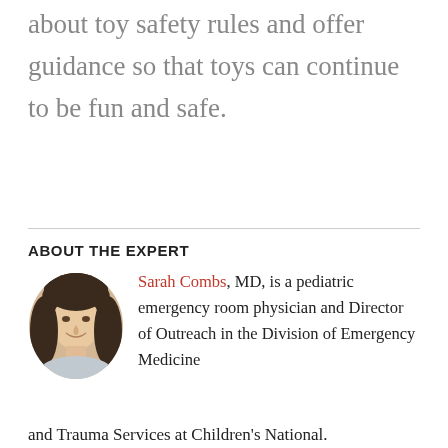about toy safety rules and offer guidance so that toys can continue to be fun and safe.
ABOUT THE EXPERT
[Figure (photo): Circular headshot photo of Sarah Combs, a woman with dark shoulder-length hair, smiling.]
Sarah Combs, MD, is a pediatric emergency room physician and Director of Outreach in the Division of Emergency Medicine and Trauma Services at Children's National.